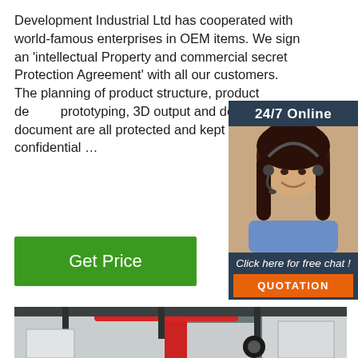Development Industrial Ltd has cooperated with world-famous enterprises in OEM items. We sign an 'intellectual Property and commercial secret Protection Agreement' with all our customers. The planning of product structure, product de... prototyping, 3D output and development document are all protected and kept high confidential ...
[Figure (photo): Customer service woman with headset, 24/7 Online label, dark blue sidebar with 'Click here for free chat!' and orange QUOTATION button]
Get Price
[Figure (photo): Industrial machinery photo showing large red and white manufacturing equipment in a factory hall]